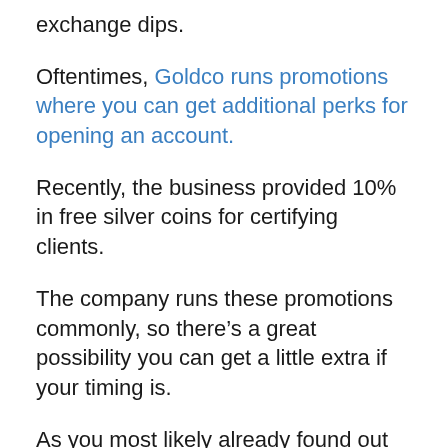exchange dips.
Oftentimes, Goldco runs promotions where you can get additional perks for opening an account.
Recently, the business provided 10% in free silver coins for certifying clients.
The company runs these promotions commonly, so there’s a great possibility you can get a little extra if your timing is.
As you most likely already found out by now that Goldco is a legit solution with thousands of customers that rely on the firm with their money.